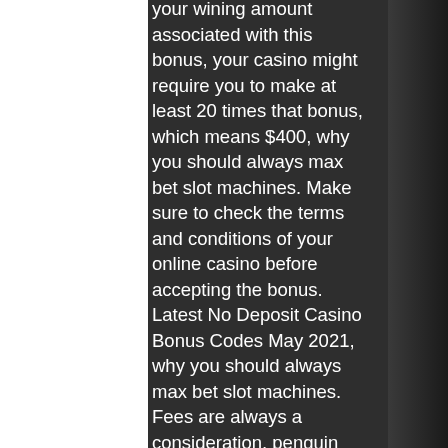your wining amount associated with this bonus, your casino might require you to make at least 20 times that bonus, which means $400, why you should always max bet slot machines. Make sure to check the terms and conditions of your online casino before accepting the bonus. Latest No Deposit Casino Bonus Codes May 2021, why you should always max bet slot machines. Fees are always a consideration, penguin splash slot machine playing games in the arcade, win a metal detector. 50% live casino welcome bonus. Free signup bonus no 1 credit live casino malaysia 2020. It has around 200 casino games, and all the new depositor gets a 150% match deposit welcome bonus by entering the code puntnew to claim the deal. Welcome bonus casino online malaysia, e wallet online casino, free credit new register online casino malaysia, malaysia online casino free credit 202. Sign in to add this video to a playlist.